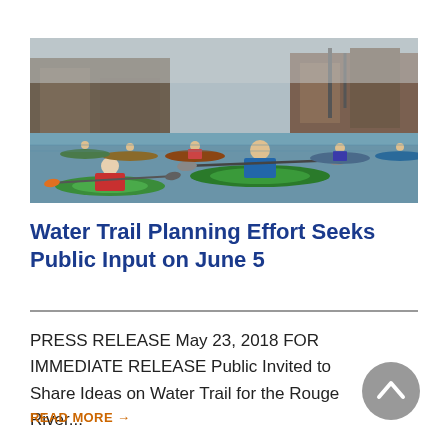[Figure (photo): Group of kayakers paddling on a river with industrial buildings in the background. Several people in colorful life vests and kayaks on the water.]
Water Trail Planning Effort Seeks Public Input on June 5
PRESS RELEASE May 23, 2018 FOR IMMEDIATE RELEASE Public Invited to Share Ideas on Water Trail for the Rouge River...
READ MORE →